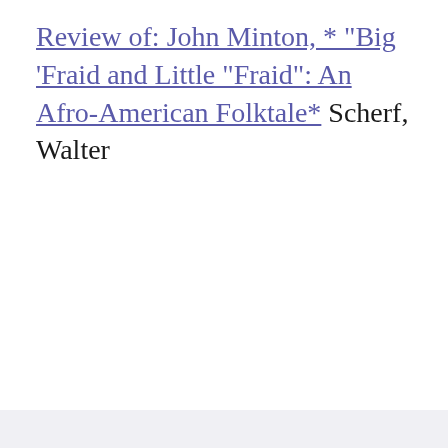Review of: John Minton, * "Big 'Fraid and Little "Fraid": An Afro-American Folktale* Scherf, Walter
CONTACT   SUBMISSIONS   TERMS OF USE   CC BY-NC